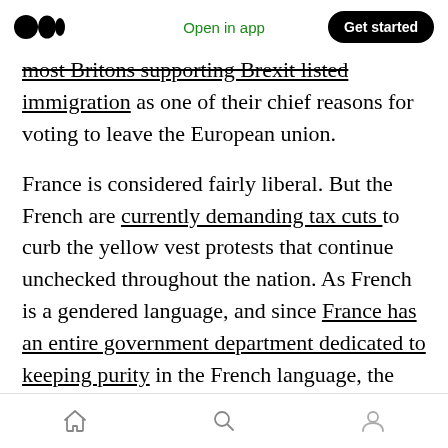Medium logo | Open in app | Get started
most Britons supporting Brexit listed immigration as one of their chief reasons for voting to leave the European union.

France is considered fairly liberal. But the French are currently demanding tax cuts to curb the yellow vest protests that continue unchecked throughout the nation. As French is a gendered language, and since France has an entire government department dedicated to keeping purity in the French language, the French are also resistant to attempts to introduce non-binary pronouns.
Home | Search | Profile